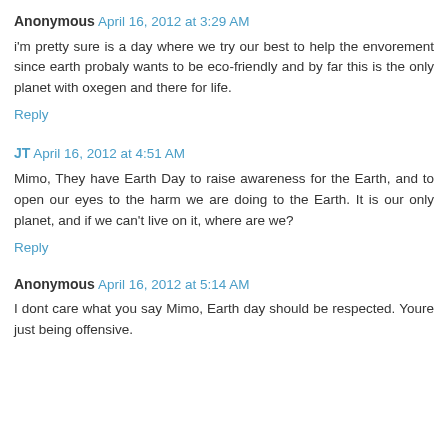Anonymous April 16, 2012 at 3:29 AM
i'm pretty sure is a day where we try our best to help the envorement since earth probaly wants to be eco-friendly and by far this is the only planet with oxegen and there for life.
Reply
JT April 16, 2012 at 4:51 AM
Mimo, They have Earth Day to raise awareness for the Earth, and to open our eyes to the harm we are doing to the Earth. It is our only planet, and if we can't live on it, where are we?
Reply
Anonymous April 16, 2012 at 5:14 AM
I dont care what you say Mimo, Earth day should be respected. Youre just being offensive.